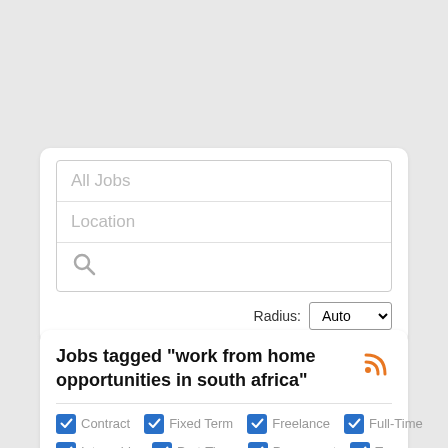[Figure (screenshot): Search box with 'All Jobs' and 'Location' placeholder text and a search icon, followed by a Radius dropdown set to 'Auto']
Jobs tagged "work from home opportunities in south africa"
Contract
Fixed Term
Freelance
Full-Time
Internship
Part-Time
Permanent
Temporary